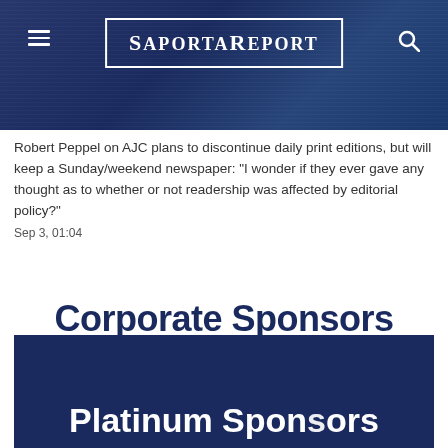[Figure (screenshot): SaportaReport website header banner with dark blue city skyline background, hamburger menu icon on left, logo in center within a rectangle border, search icon on right]
Robert Peppel on AJC plans to discontinue daily print editions, but will keep a Sunday/weekend newspaper: “I wonder if they ever gave any thought as to whether or not readership was affected by editorial policy?”
Sep 3, 01:04
Corporate Sponsors
[Figure (other): Dark navy blue banner section beginning with Platinum Sponsors text in white bold letters]